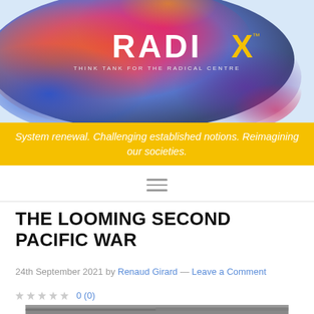[Figure (logo): Radix Think Tank logo with colorful ink-blob splash background. Text reads RADIX with a yellow chevron and TM mark, tagline THINK TANK FOR THE RADICAL CENTRE in white below.]
System renewal. Challenging established notions. Reimagining our societies.
THE LOOMING SECOND PACIFIC WAR
24th September 2021 by Renaud Girard — Leave a Comment
0 (0)
[Figure (photo): Black and white photograph, partially visible at the bottom of the page, appears to show a wartime or historical scene.]